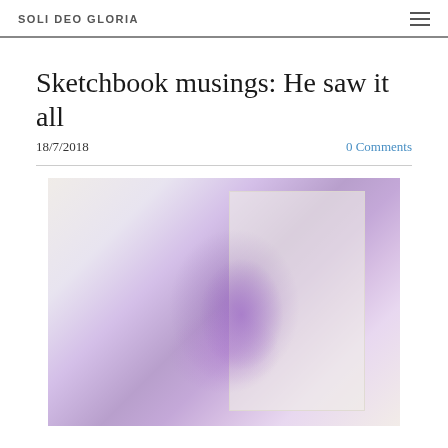SOLI DEO GLORIA
Sketchbook musings: He saw it all
18/7/2018   0 Comments
[Figure (photo): A blurry, purple-tinted photograph of a person's face partially obscured by fabric, against a light background with a rectangular overlay]